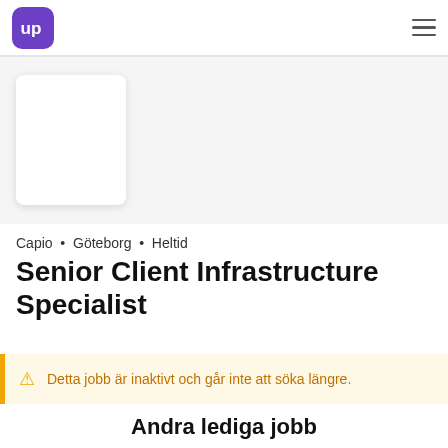UP logo and navigation
[Figure (logo): UP logo - white 'up' text on purple rounded square background, with hamburger menu icon on right]
Capio • Göteborg • Heltid
Senior Client Infrastructure Specialist
Detta jobb är inaktivt och går inte att söka längre.
Andra lediga jobb